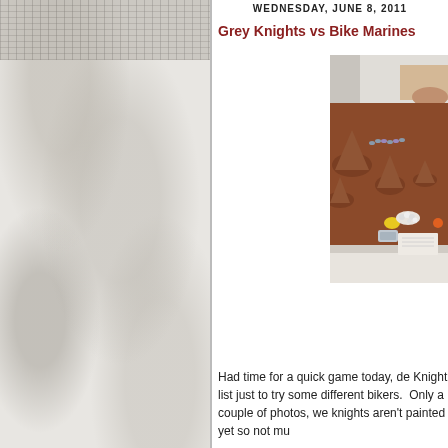WEDNESDAY, JUNE 8, 2011
Grey Knights vs Bike Marines
[Figure (photo): A tabletop wargame in progress showing a reddish-brown terrain board with miniature figures, hills made of clay or foam, and a person's hands arranging pieces.]
Had time for a quick game today, de Knight list just to try some different bikers. Only a couple of photos, we knights aren't painted yet so not mu